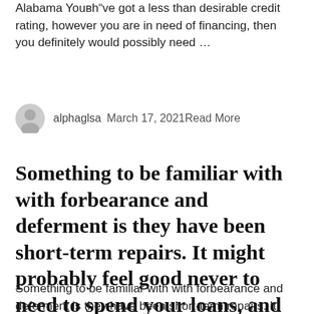Alabama Youвh’ve got a less than desirable credit rating, however you are in need of financing, then you definitely would possibly need ...
alphaglsa   March 17, 2021Read More
Something to be familiar with with forbearance and deferment is they have been short-term repairs. It might probably feel good never to need to spend your loans, and you also might feel lured to simply forget which they occur.
Something to be familiar with with forbearance and deferment is they have been short-term repairs. It